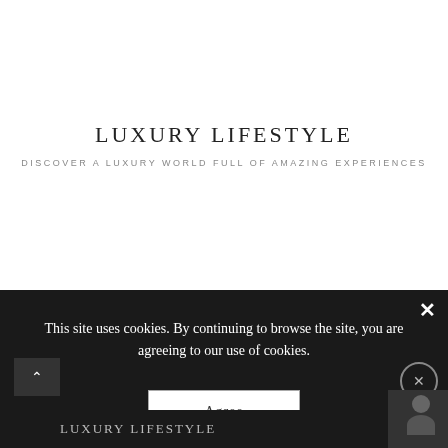LUXURY LIFESTYLE
DISCOVER A LUXURY WORLD FULL OF AMAZING EXPERIENCES
This site uses cookies. By continuing to browse the site, you are agreeing to our use of cookies.
Agree